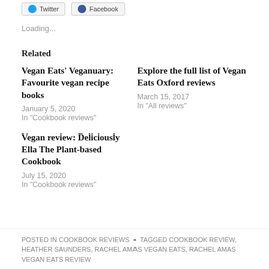Loading...
Related
Vegan Eats’ Veganuary: Favourite vegan recipe books
January 5, 2020
In “Cookbook reviews”
Explore the full list of Vegan Eats Oxford reviews
March 15, 2017
In “All reviews”
Vegan review: Deliciously Ella The Plant-based Cookbook
July 15, 2020
In “Cookbook reviews”
POSTED IN COOKBOOK REVIEWS · TAGGED COOKBOOK REVIEW, HEATHER SAUNDERS, RACHEL AMAS VEGAN EATS, RACHEL AMAS VEGAN EATS REVIEW